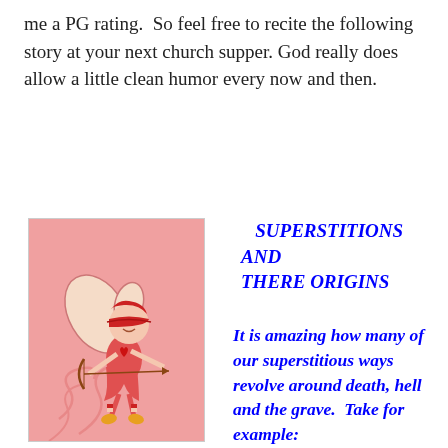me a PG rating.  So feel free to recite the following story at your next church supper. God really does allow a little clean humor every now and then.
[Figure (illustration): A cartoon cupid fairy with wings, blindfold, bow and arrow, wearing red dress, on a pink decorative background with swirl patterns.]
SUPERSTITIONS AND THERE ORIGINS
It is amazing how many of our superstitious ways revolve around death, hell and the grave.  Take for example: